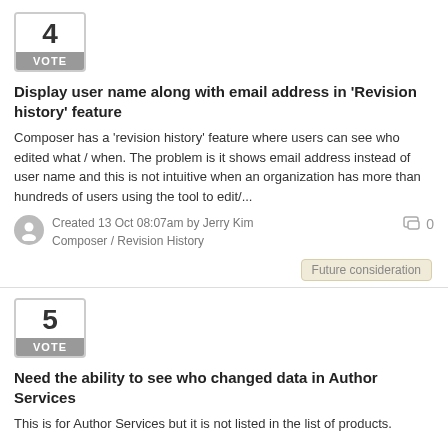[Figure (other): Vote box with number 4 and VOTE label]
Display user name along with email address in 'Revision history' feature
Composer has a 'revision history' feature where users can see who edited what / when. The problem is it shows email address instead of user name and this is not intuitive when an organization has more than hundreds of users using the tool to edit/...
Created 13 Oct 08:07am by Jerry Kim
Composer / Revision History
0
Future consideration
[Figure (other): Vote box with number 5 and VOTE label]
Need the ability to see who changed data in Author Services
This is for Author Services but it is not listed in the list of products.